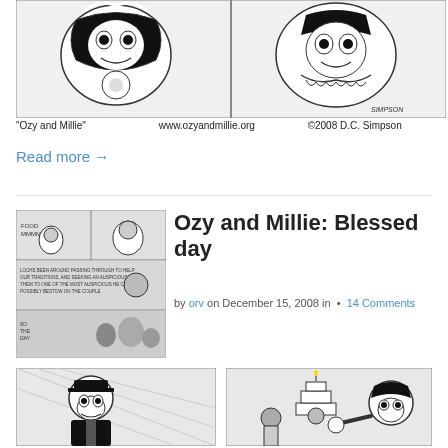[Figure (illustration): Black and white comic strip panels from 'Ozy and Millie' featuring cartoon animal characters, signed SIMPSON]
"Ozy and Millie"   www.ozyandmillie.org   ©2008 D.C. Simpson
Read more →
[Figure (illustration): Thumbnail of Ozy and Millie comic strip showing multiple panels with cartoon characters]
Ozy and Millie: Blessed day
by orv on December 15, 2008 in  •  14 Comments
[Figure (illustration): Two panels from Ozy and Millie comic strip showing characters in black and white]